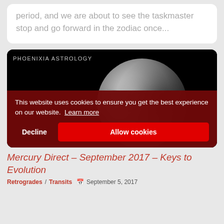period, and we are about to see the taskmaster stop and go forward in the zodiac once...
[Figure (photo): Phoenixia Astrology branded image showing a grey rocky celestial body (Mercury) against a black background, with 'MERCURY DIRECT' text overlaid at the bottom in dark red]
This website uses cookies to ensure you get the best experience on our website. Learn more
Decline
Allow cookies
Mercury Direct – September 2017 – Keys to Evolution
Retrogrades / Transits   September 5, 2017